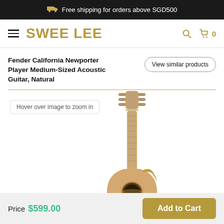Free shipping for orders above SGD500
SWEE LEE
Fender California Newporter Player Medium-Sized Acoustic Guitar, Natural
View similar products
[Figure (photo): Acoustic guitar (Fender California Newporter Player) shown from front, natural wood finish, cutaway body, partial view showing headstock, neck, and upper body with soundhole]
Hover over image to zoom in
Price $599.00
Add to Cart